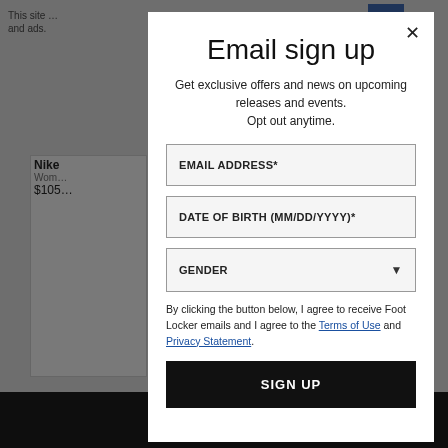This site … and ads.
Nike
Wom…
$105…
POL…
We ha… By con…
Email sign up
Get exclusive offers and news on upcoming releases and events. Opt out anytime.
EMAIL ADDRESS*
DATE OF BIRTH (MM/DD/YYYY)*
GENDER
By clicking the button below, I agree to receive Foot Locker emails and I agree to the Terms of Use and Privacy Statement.
SIGN UP